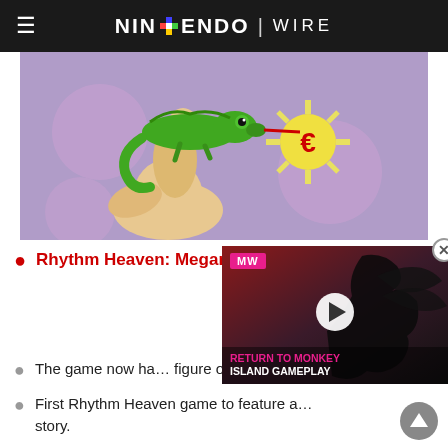NINTENDO WIRE
[Figure (illustration): Cartoon illustration of a green chameleon on a hand shooting its tongue at a yellow star/sun with a red C letter on a purple background with pink circles]
Rhythm Heaven: Megamix
[Figure (screenshot): Video overlay for 'Return to Monkey Island Gameplay' from MW (Multi World) showing a silhouette character on a dark red background with play button]
The game now ha... figure out the bea...
First Rhythm Heaven game to feature a... story.